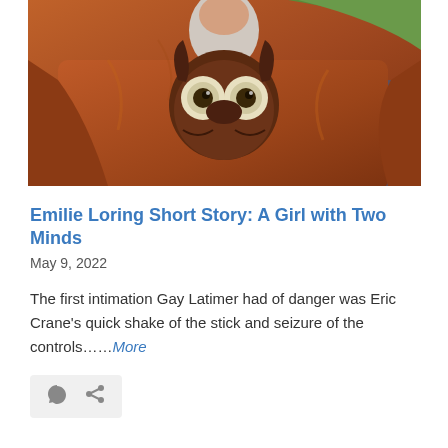[Figure (illustration): A painted illustration showing a person in a brown/orange coat holding what appears to be a creature or animal with large goggle-like eyes, rendered in an expressive painterly style with warm orange and brown tones.]
Emilie Loring Short Story: A Girl with Two Minds
May 9, 2022
The first intimation Gay Latimer had of danger was Eric Crane’s quick shake of the stick and seizure of the controls……More